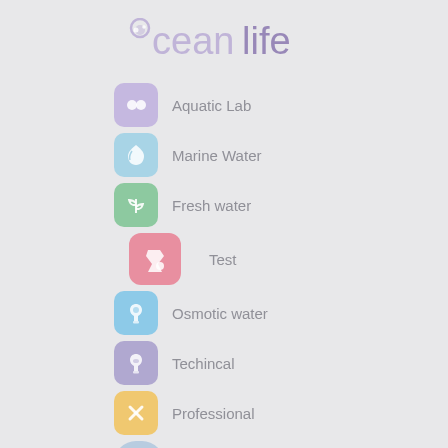oceanlife
Aquatic Lab
Marine Water
Fresh water
Test
Osmotic water
Techincal
Professional
Support
Operators Login